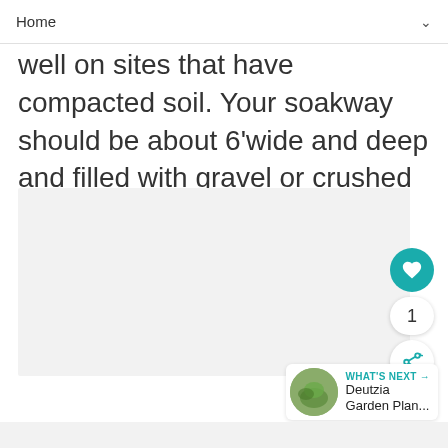Home
div...s well on sites that have compacted soil. Your soakway should be about 6'wide and deep and filled with gravel or crushed stone, topped with sand and sodded or seeded.
[Figure (photo): Large light gray placeholder image area]
1
WHAT'S NEXT → Deutzia Garden Plan...